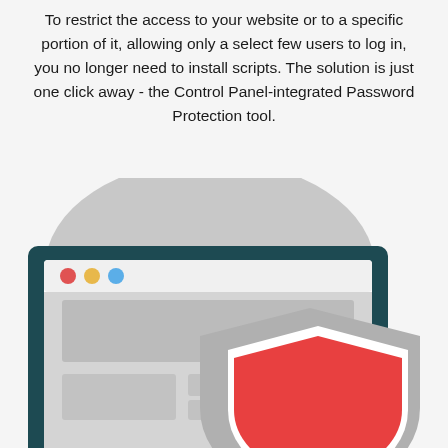To restrict the access to your website or to a specific portion of it, allowing only a select few users to log in, you no longer need to install scripts. The solution is just one click away - the Control Panel-integrated Password Protection tool.
[Figure (illustration): Flat-style illustration of a browser window (dark teal frame, traffic-light dots in red/yellow/blue, grey content placeholder blocks) overlaid by a grey shield with a red inner shield, all on a light grey background.]